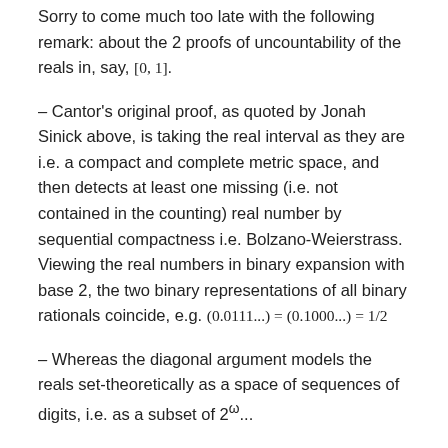Sorry to come much too late with the following remark: about the 2 proofs of uncountability of the reals in, say, [0, 1].
– Cantor's original proof, as quoted by Jonah Sinick above, is taking the real interval as they are i.e. a compact and complete metric space, and then detects at least one missing (i.e. not contained in the counting) real number by sequential compactness i.e. Bolzano-Weierstrass. Viewing the real numbers in binary expansion with base 2, the two binary representations of all binary rationals coincide, e.g. (0.0111...) = (0.1000...) = 1/2
– Whereas the diagonal argument models the reals set-theoretically as a space of sequences of digits, i.e. as a subset of 2^ω...